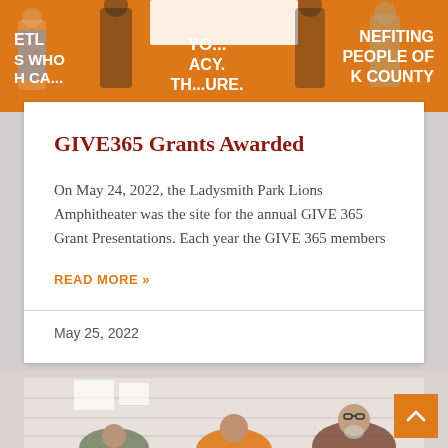[Figure (photo): Photo of people at an event holding a large check, in front of an orange banner with white text reading 'YO...ACY.', 'BENEFITING PEOPLE OF K COUNTY', and partial text on the left side.]
GIVE365 Grants Awarded
On May 24, 2022, the Ladysmith Park Lions Amphitheater was the site for the annual GIVE 365 Grant Presentations. Each year the GIVE 365 members
READ MORE »
May 25, 2022
[Figure (photo): Photo of people seated indoors, including a young woman in an orange top and an older man with a beard wearing a plaid shirt.]